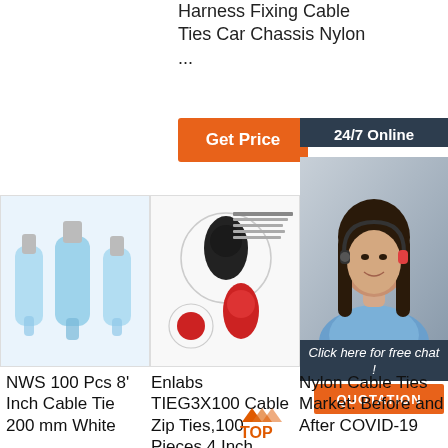Harness Fixing Cable Ties Car Chassis Nylon ...
Get Price
24/7 Online
[Figure (photo): Product photo of blue transparent nylon cable connectors/terminals (Raytech brand)]
[Figure (photo): Product photo showing dual-wall glue inside heat shrink connectors with 'Glue Inside' label and product specs]
[Figure (photo): Customer service representative wearing headset smiling, with dark panel overlay showing '24/7 Online', 'Click here for free chat!', and QUOTATION button]
Click here for free chat !
QUOTATION
NWS 100 Pcs 8' Inch Cable Tie 200 mm White
Enlabs TIEG3X100 Cable Zip Ties,100 Pieces 4 Inch Ultra
Nylon Cable Ties Market: Before and After COVID-19
[Figure (logo): TOP logo with orange/red triangle arrow design and text 'TOP']